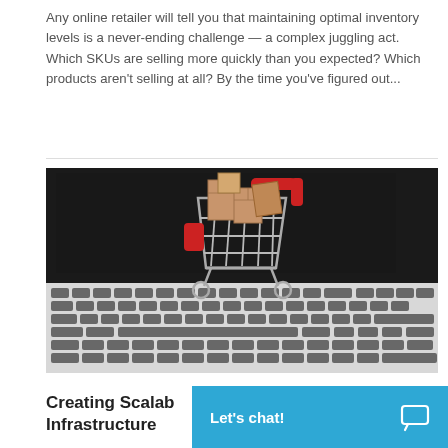Any online retailer will tell you that maintaining optimal inventory levels is a never-ending challenge — a complex juggling act.  Which SKUs are selling more quickly than you expected?  Which products aren't selling at all?  By the time you've figured out...
[Figure (photo): A miniature shopping cart filled with cardboard boxes sitting on a laptop keyboard, representing e-commerce and online retail.]
Creating Scalable Infrastructure